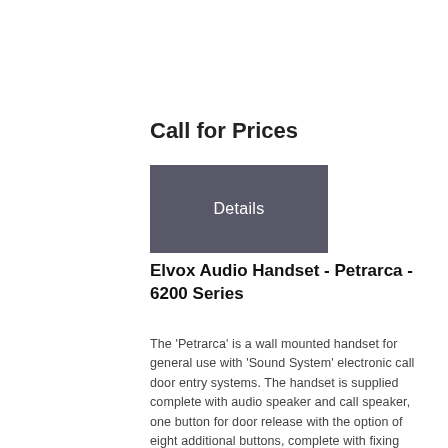Call for Prices
[Figure (other): Dark grey rectangular button labeled 'Details']
Elvox Audio Handset - Petrarca - 6200 Series
The 'Petrarca' is a wall mounted handset for general use with 'Sound System' electronic call door entry systems. The handset is supplied complete with audio speaker and call speaker, one button for door release with the option of eight additional buttons, complete with fixing screws.